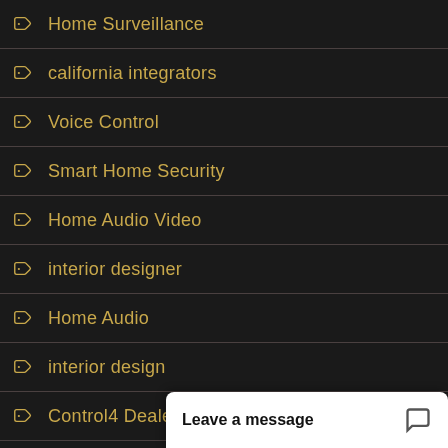Home Surveillance
california integrators
Voice Control
Smart Home Security
Home Audio Video
interior designer
Home Audio
interior design
Control4 Dealer
Dedicated Home Theater
Automated Shades
Controlled Lighting
bel air estates
Commercial Lighting
Private Home Theate